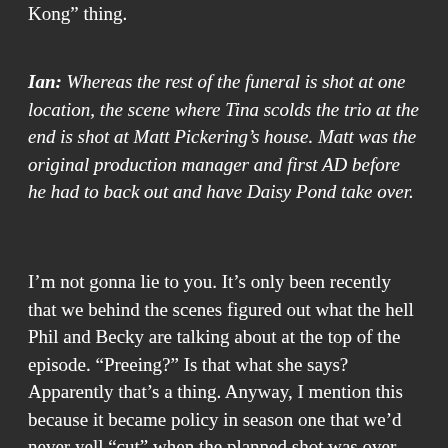Kong” thing.
Ian: Whereas the rest of the funeral is shot at one location, the scene where Tina scolds the trio at the end is shot at Matt Pickering’s house. Matt was the original production manager and first AD before he had to back out and have Daisy Pond take over.
I’m not gonna lie to you. It’s only been recently that we behind the scenes figured out what the hell Phil and Becky are talking about at the top of the episode. “Preeing?” Is that what she says? Apparently that’s a thing. Anyway, I mention this because it became policy in season one that we’d never yell “cut” when the planned shot was over. We’d just sit back and